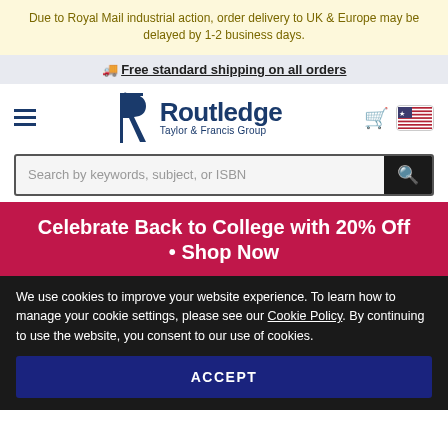Due to Royal Mail industrial action, order delivery to UK & Europe may be delayed by 1-2 business days.
🚚 Free standard shipping on all orders
[Figure (logo): Routledge Taylor & Francis Group logo with stylized R mark]
Search by keywords, subject, or ISBN
Celebrate Back to College with 20% Off • Shop Now
We use cookies to improve your website experience. To learn how to manage your cookie settings, please see our Cookie Policy. By continuing to use the website, you consent to our use of cookies.
ACCEPT